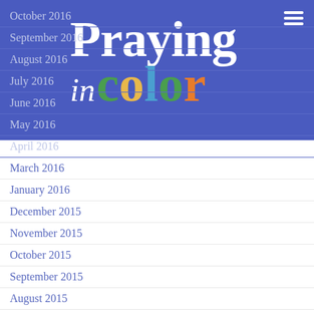[Figure (logo): Praying in Color logo with colored letters on blue banner background]
October 2016
September 2016
August 2016
July 2016
June 2016
May 2016
April 2016
March 2016
January 2016
December 2015
November 2015
October 2015
September 2015
August 2015